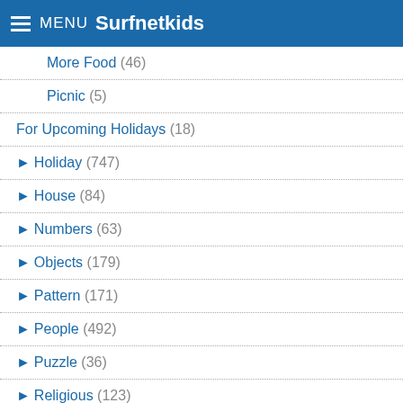MENU Surfnetkids
More Food (46)
Picnic (5)
For Upcoming Holidays (18)
► Holiday (747)
► House (84)
► Numbers (63)
► Objects (179)
► Pattern (171)
► People (492)
► Puzzle (36)
► Religious (123)
► Science (263)